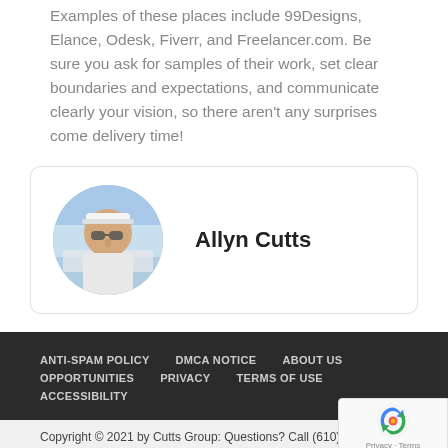Examples of these places include 99Designs, Elance, Odesk, Fiverr, and Freelancer.com. Be sure you ask for samples of their work, set clear boundaries and expectations, and communicate clearly your vision, so there aren't any surprises come delivery time!
Allyn Cutts
ANTI-SPAM POLICY   DMCA NOTICE   ABOUT US   OPPORTUNITIES   PRIVACY   TERMS OF USE   ACCESSIBILITY
Copyright © 2021 by Cutts Group: Questions? Call (610) 628-02...